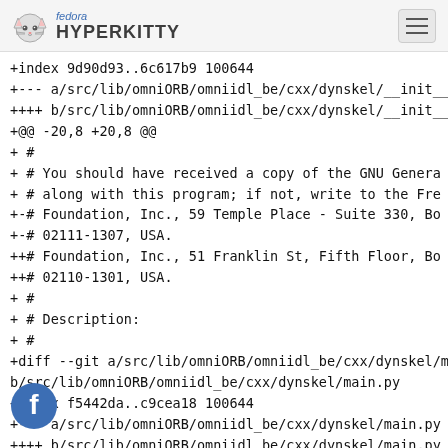fedora HYPERKITTY
+index 9d90d93..6c617b9 100644
+--- a/src/lib/omniORB/omniidl_be/cxx/dynskel/__init__
++++ b/src/lib/omniORB/omniidl_be/cxx/dynskel/__init__
+@@ -20,8 +20,8 @@
+ #
+ #  You should have received a copy of the GNU Genera
+ #  along with this program; if not, write to the Fre
+-#  Foundation, Inc., 59 Temple Place - Suite 330, Bo
+-#  02111-1307, USA.
++#  Foundation, Inc., 51 Franklin St, Fifth Floor, Bo
++#  02110-1301, USA.
+ #
+ # Description:
+ #
+diff --git a/src/lib/omniORB/omniidl_be/cxx/dynskel/m
b/src/lib/omniORB/omniidl_be/cxx/dynskel/main.py
+index f5442da..c9cea18 100644
+--- a/src/lib/omniORB/omniidl_be/cxx/dynskel/main.py
++++ b/src/lib/omniORB/omniidl_be/cxx/dynskel/main.py
+@@ -21,8 -21,8 @@